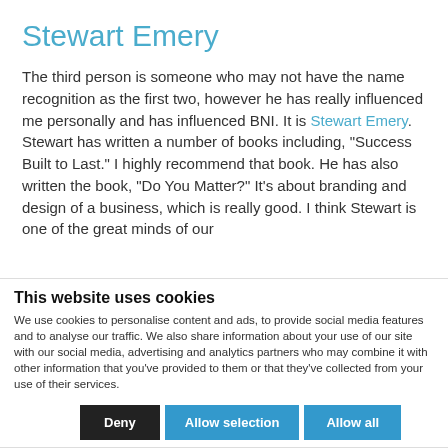Stewart Emery
The third person is someone who may not have the name recognition as the first two, however he has really influenced me personally and has influenced BNI. It is Stewart Emery. Stewart has written a number of books including, “Success Built to Last.” I highly recommend that book. He has also written the book, “Do You Matter?” It’s about branding and design of a business, which is really good. I think Stewart is one of the great minds of our
This website uses cookies
We use cookies to personalise content and ads, to provide social media features and to analyse our traffic. We also share information about your use of our site with our social media, advertising and analytics partners who may combine it with other information that you’ve provided to them or that they’ve collected from your use of their services.
Deny | Allow selection | Allow all
Necessary (checked) | Preferences | Statistics | Marketing | Show details